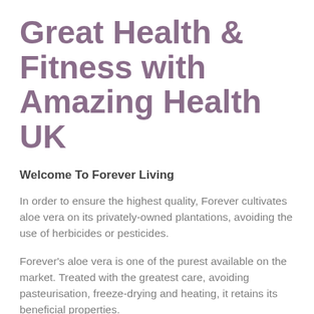Great Health & Fitness with Amazing Health UK
Welcome To Forever Living
In order to ensure the highest quality, Forever cultivates aloe vera on its privately-owned plantations, avoiding the use of herbicides or pesticides.
Forever's aloe vera is one of the purest available on the market. Treated with the greatest care, avoiding pasteurisation, freeze-drying and heating, it retains its beneficial properties.
You'll be hard pressed to find another product like